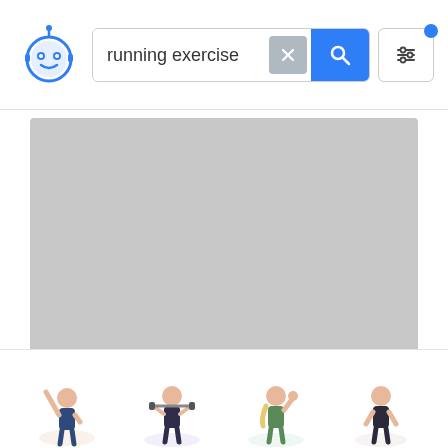[Figure (screenshot): App UI screenshot showing a search bar with 'running exercise' query, a robot logo, a large gray placeholder image area, and thumbnail previews of exercise-related illustrations at the bottom.]